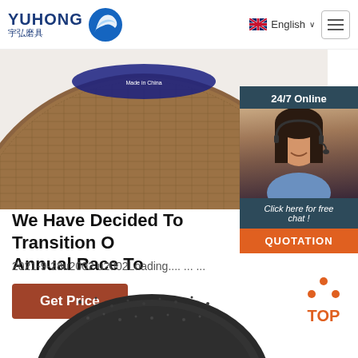[Figure (logo): Yuhong logo with blue wave icon, English text YUHONG and Chinese text 宇弘磨具]
[Figure (screenshot): Navigation bar with English language selector and hamburger menu icon]
[Figure (photo): Close-up of brown/tan grinding/abrasive disc with blue label visible at top]
[Figure (photo): 24/7 Online chat widget showing female customer service representative with headset, dark teal/navy background, with Click here for free chat and QUOTATION button]
We Have Decided To Transition O Annual Race To
2021-9-28u2002·u2002Loading.... ... ...
[Figure (other): Brown/rust colored Get Price button]
[Figure (other): TOP button with orange dotted triangle icon]
[Figure (photo): Dark gray abrasive/grinding disc shown at bottom of page, partially cropped]